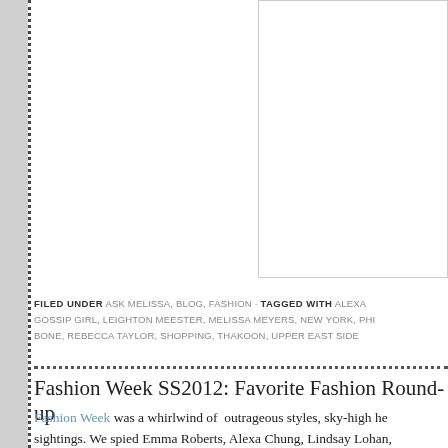[Figure (other): Partial view of a fashion blog page with a white image placeholder box on the right side of the top area]
FILED UNDER ASK MELISSA, BLOG, FASHION · TAGGED WITH ALEXA[NDRA CHUNG], GOSSIP GIRL, LEIGHTON MEESTER, MELISSA MEYERS, NEW YORK, PHI[LIP BONE], REBECCA TAYLOR, SHOPPING, THAKOON, UPPER EAST SIDE
Fashion Week SS2012: Favorite Fashion Round-up
Fashion Week was a whirlwind of outrageous styles, sky-high he[els and celebrity] sightings. We spied Emma Roberts, Alexa Chung, Lindsay Loha[n,] Johnny Weir, Nigel Barker, Olivia Palermo, Ramona Singer, Whi[tney] Rutherford and Kourtney Kardashian, among others. Everyone lo[ved...]